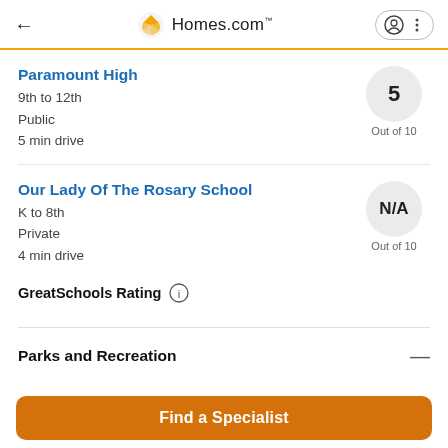Homes.com
Paramount High
9th to 12th
Public
5 min drive
5
Out of 10
Our Lady Of The Rosary School
K to 8th
Private
4 min drive
N/A
Out of 10
GreatSchools Rating
Parks and Recreation
Find a Specialist